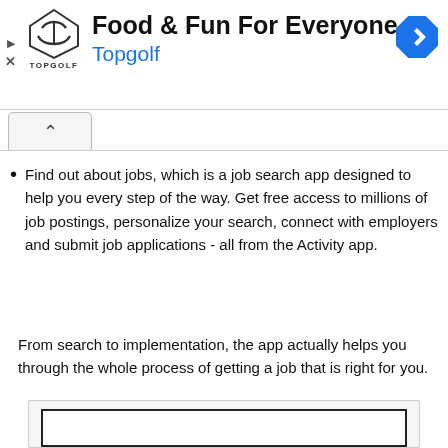[Figure (screenshot): Topgolf advertisement banner with logo, headline 'Food & Fun For Everyone', subheadline 'Topgolf', navigation icon, play and close controls]
Find out about jobs, which is a job search app designed to help you every step of the way. Get free access to millions of job postings, personalize your search, connect with employers and submit job applications - all from the Activity app.
From search to implementation, the app actually helps you through the whole process of getting a job that is right for you.
[Figure (screenshot): Partially visible screenshot box with black border at bottom of page]